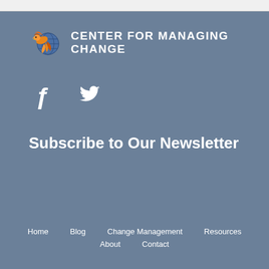[Figure (logo): Center for Managing Change logo with phoenix bird and globe, orange and blue colors]
CENTER FOR MANAGING CHANGE
[Figure (illustration): Facebook and Twitter social media icons in white]
Subscribe to Our Newsletter
Home   Blog   Change Management   Resources   About   Contact